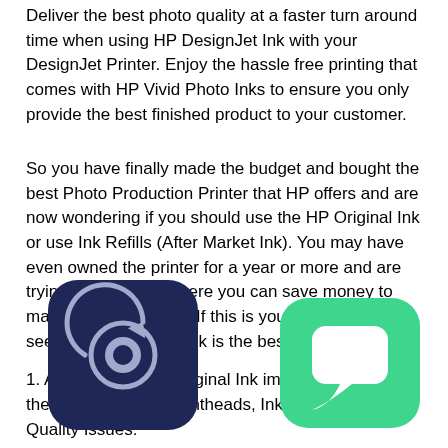Deliver the best photo quality at a faster turn around time when using HP DesignJet Ink with your DesignJet Printer. Enjoy the hassle free printing that comes with HP Vivid Photo Inks to ensure you only provide the best finished product to your customer.
So you have finally made the budget and bought the best Photo Production Printer that HP offers and are now wondering if you should use the HP Original Ink or use Ink Refills (After Market Ink). You may have even owned the printer for a year or more and are trying to figure out where you can save money to maximize your profits. If this is you let us help you see why HP Original Ink is the best.
1. Any ink that isn't Original Ink immediately voids the warranty on all Printheads, Ink Tubes, and Print Quality Issues.
2. [HP has] spent their years perfecting the formula for Original HP [...] rovide the Best Quality Photos and the most d[urable] possible.
3. Original HP Ink was designed for production printing and...
[Figure (illustration): Dark navy blue rounded square icon with a gear/settings symbol overlaid with a circular arrow, resembling a support or settings app icon. Positioned at bottom left area.]
[Figure (illustration): Green rounded square chat bubble icon, resembling a messaging or live chat support widget. Positioned at bottom right area.]